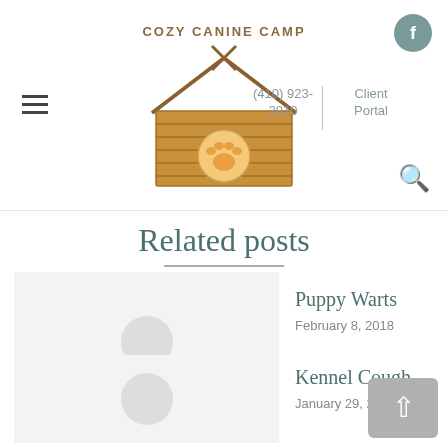Cozy Canine Camp | (410) 923-2010 | Client Portal
Related posts
Puppy Warts
February 8, 2018
Kennel Cough
January 29, 2018
Boarding Geriatric Pets
January 29, 2018